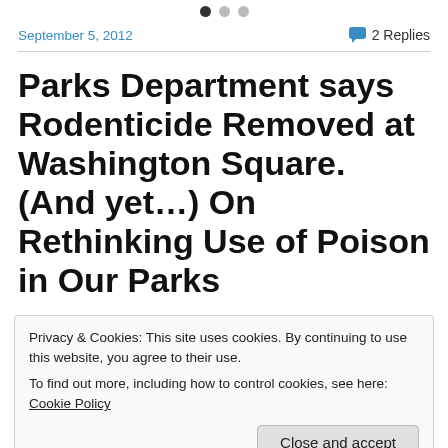[Figure (other): Three pagination dots: one filled dark, two light grey]
September 5, 2012    2 Replies
Parks Department says Rodenticide Removed at Washington Square. (And yet…) On Rethinking Use of Poison in Our Parks
Privacy & Cookies: This site uses cookies. By continuing to use this website, you agree to their use.
To find out more, including how to control cookies, see here: Cookie Policy
Rat Poison Sign